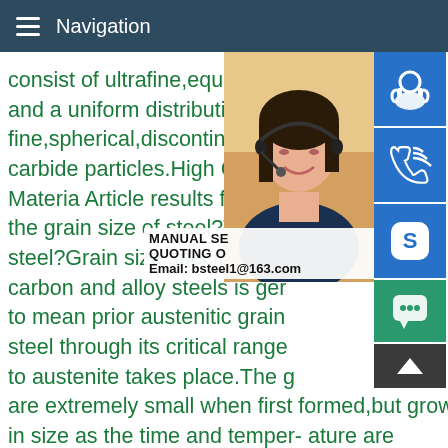Navigation
consist of ultrafine,equiaxed grains and a uniform distribution of fine,spherical,discontinuous primary carbide particles.High Carbon Materia Article results for this the grain size of steel?What is steel?Grain size specifics The carbon and alloy steels is generally to mean prior austenitic grain steel through its critical range to austenite takes place.The grains are extremely small when first formed,but grow in size as the time and temper- ature are increased.Grain Size and Its Influence on Materials Properties results for this question carbon steel ductile?Is carbon steel ductile? Unfortunately this also makes the steel quite brittle and much less ductile than mild
[Figure (photo): Photo of a woman wearing a headset, customer service representative, partially visible on right side of page]
[Figure (infographic): Blue contact buttons: customer service icon, phone/call icon, Skype icon; green chat bubble icon; dark scroll-up arrow button]